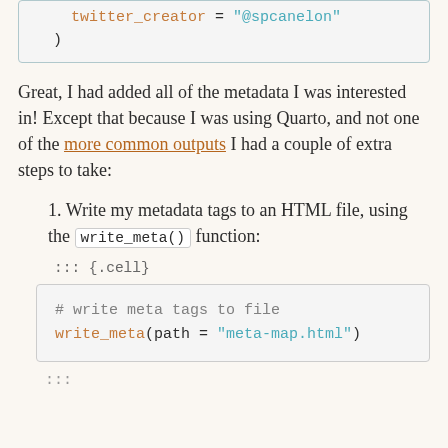[Figure (screenshot): Code block showing: twitter_creator = "@spcanelon" and closing parenthesis )]
Great, I had added all of the metadata I was interested in! Except that because I was using Quarto, and not one of the more common outputs I had a couple of extra steps to take:
1. Write my metadata tags to an HTML file, using the write_meta() function:
::: {.cell}
[Figure (screenshot): Code block showing: # write meta tags to file
write_meta(path = "meta-map.html")]
:::